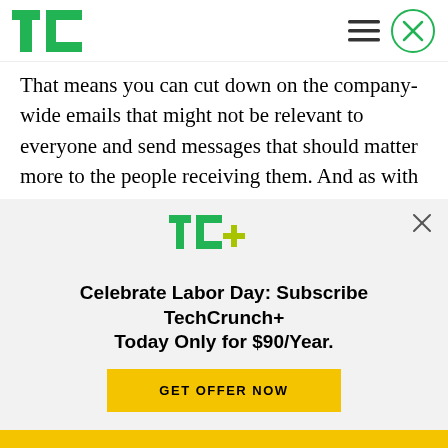TechCrunch
That means you can cut down on the company-wide emails that might not be relevant to everyone and send messages that should matter more to the people receiving them. And as with a marketing communications tool, you can track how many people have opened the emails and how successful you were in hitting the mark.
[Figure (logo): TechCrunch+ logo (TC+ in green and yellow)]
Celebrate Labor Day: Subscribe TechCrunch+ Today Only for $90/Year.
GET OFFER NOW